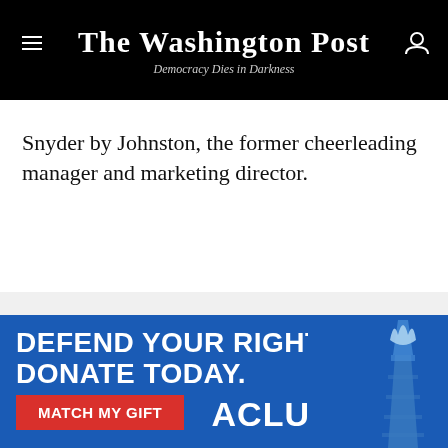The Washington Post — Democracy Dies in Darkness
Snyder by Johnston, the former cheerleading manager and marketing director.
[Figure (logo): Washington Post watermark logo on grey background]
[Figure (infographic): ACLU advertisement banner: DEFEND YOUR RIGHTS. DONATE TODAY. MATCH MY GIFT button, ACLU logo, Statue of Liberty torch image]